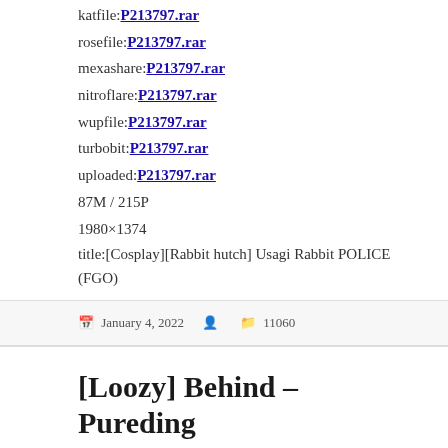katfile:P213797.rar
rosefile:P213797.rar
mexashare:P213797.rar
nitroflare:P213797.rar
wupfile:P213797.rar
turbobit:P213797.rar
uploaded:P213797.rar
87M / 215P
1980×1374
title:[Cosplay][Rabbit hutch] Usagi Rabbit POLICE (FGO)
Posted on January 4, 2022  Author  Categories 11060
[Loozy] Behind – Pureding